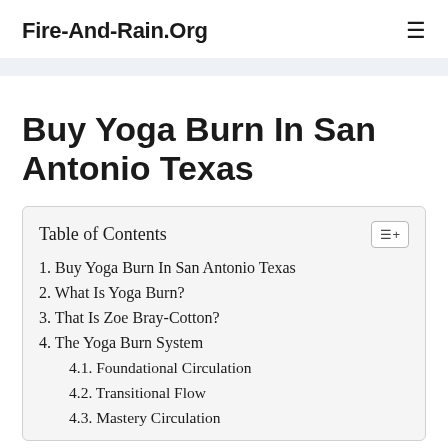Fire-And-Rain.Org
Buy Yoga Burn In San Antonio Texas
| Table of Contents |
| --- |
| 1. Buy Yoga Burn In San Antonio Texas |
| 2. What Is Yoga Burn? |
| 3. That Is Zoe Bray-Cotton? |
| 4. The Yoga Burn System |
| 4.1. Foundational Circulation |
| 4.2. Transitional Flow |
| 4.3. Mastery Circulation |